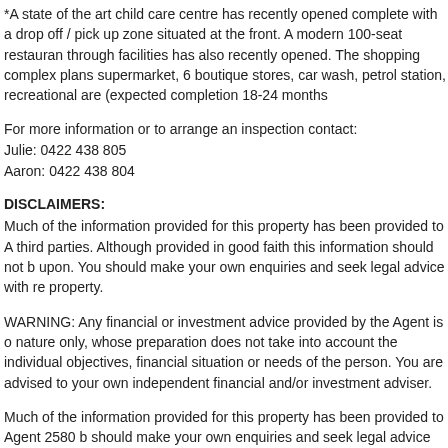*A state of the art child care centre has recently opened complete with a drop off / pick up zone situated at the front. A modern 100-seat restaurant through facilities has also recently opened. The shopping complex plans supermarket, 6 boutique stores, car wash, petrol station, recreational are (expected completion 18-24 months
For more information or to arrange an inspection contact:
Julie: 0422 438 805
Aaron: 0422 438 804
DISCLAIMERS:
Much of the information provided for this property has been provided to A third parties. Although provided in good faith this information should not b upon. You should make your own enquiries and seek legal advice with re property.
WARNING: Any financial or investment advice provided by the Agent is o nature only, whose preparation does not take into account the individual objectives, financial situation or needs of the person. You are advised to your own independent financial and/or investment adviser.
Much of the information provided for this property has been provided to Agent 2580 b should make your own enquiries and seek legal advice with respect to this property.